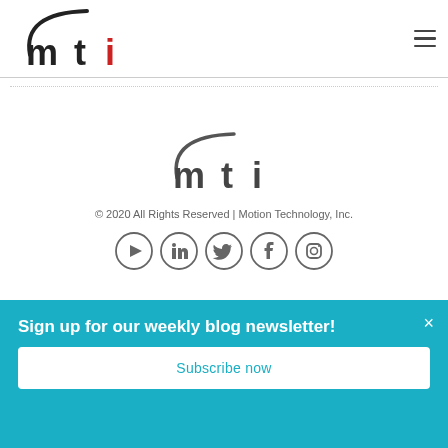[Figure (logo): MTI logo in header with red 'i' accent and swoosh]
[Figure (logo): MTI logo centered in footer area, grey/dark version]
© 2020 All Rights Reserved | Motion Technology, Inc.
[Figure (infographic): Social media icons: YouTube, LinkedIn, Twitter, Facebook, Instagram in circular grey outlines]
Sign up for our weekly blog newsletter!
Subscribe now